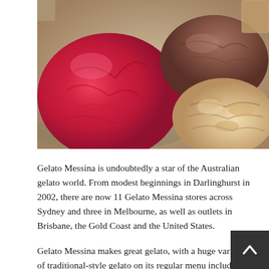[Figure (photo): Close-up photo of gelato scoops in metal trays — a large vivid red/pink scoop on the left, a chocolate-brown scoop in the upper middle-right, and a pale beige/cream textured gelato on the lower right.]
Gelato Messina is undoubtedly a star of the Australian gelato world. From modest beginnings in Darlinghurst in 2002, there are now 11 Gelato Messina stores across Sydney and three in Melbourne, as well as outlets in Brisbane, the Gold Coast and the United States.
Gelato Messina makes great gelato, with a huge variety of traditional-style gelato on its regular menu including both dairy and non-dairy options. But many Messina fans like to seek out the weekly specials.